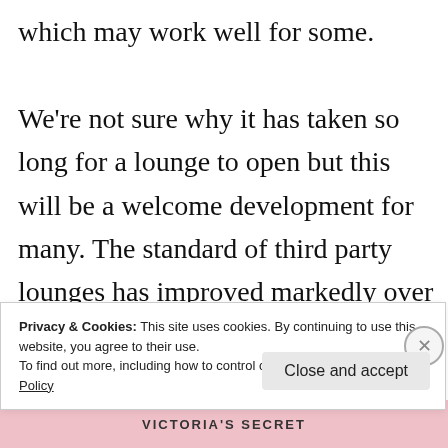which may work well for some.
We're not sure why it has taken so long for a lounge to open but this will be a welcome development for many. The standard of third party lounges has improved markedly over the past few years and it should compare favourable
Privacy & Cookies: This site uses cookies. By continuing to use this website, you agree to their use.
To find out more, including how to control cookies, see here: Cookie Policy
Close and accept